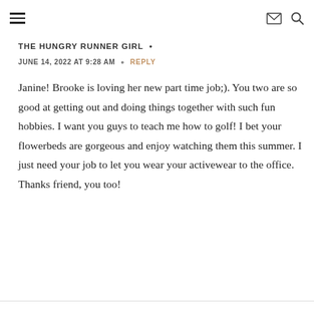≡  ✉ 🔍
THE HUNGRY RUNNER GIRL  •
JUNE 14, 2022 AT 9:28 AM  •  REPLY
Janine! Brooke is loving her new part time job;). You two are so good at getting out and doing things together with such fun hobbies. I want you guys to teach me how to golf! I bet your flowerbeds are gorgeous and enjoy watching them this summer. I just need your job to let you wear your activewear to the office. Thanks friend, you too!